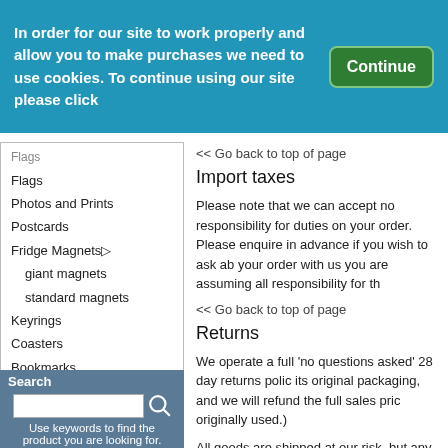In order for our site to work properly and allow you to make purchases we need to use cookies. To continue using our site please click
Continue
Flags
Photos and Prints
Postcards
Fridge Magnets
giant magnets
standard magnets
Keyrings
Coasters
Bookmarks
Special offers
<< Go back to top of page
Import taxes
Please note that we can accept no responsibility for duties on your order. Please enquire in advance if you wish to ask about your order with us you are assuming all responsibility for th
<< Go back to top of page
Returns
We operate a full 'no questions asked' 28 day returns policy. its original packaging, and we will refund the full sales price originally used.)
All goods are shipped at our risk, but any damage or loss must sign for deliveries as "UNOPENED". It is very rare that it h broken, do not refuse it. Keep the package and sign for the instructions about returning the item at our expense, and s stock of any item.
Search
Use keywords to find the product you are looking for.
Advanced Search
What's New?